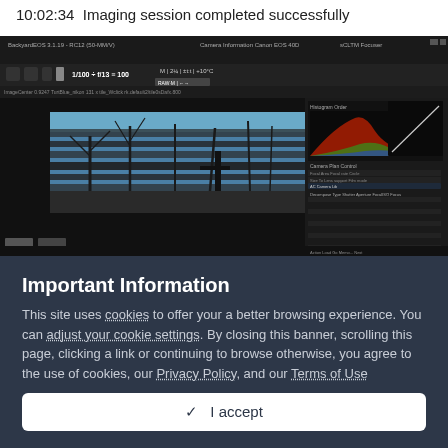10:02:34  Imaging session completed successfully
[Figure (screenshot): BackyardEOS software screenshot showing a camera imaging session with a live view of bare winter trees, a histogram panel, and camera control settings panel on the right side.]
Important Information
This site uses cookies to offer your a better browsing experience. You can adjust your cookie settings. By closing this banner, scrolling this page, clicking a link or continuing to browse otherwise, you agree to the use of cookies, our Privacy Policy, and our Terms of Use
✓  I accept